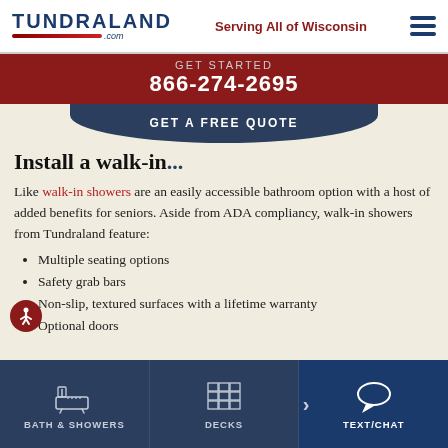Tundraland.com | Serving All of Wisconsin
GET STARTED 866-274-2695
GET A FREE QUOTE
Install a walk-in...
Like walk-in showers are an easily accessible bathroom option with a host of added benefits for seniors. Aside from ADA compliancy, walk-in showers from Tundraland feature:
Multiple seating options
Safety grab bars
Non-slip, textured surfaces with a lifetime warranty
Optional doors
BATH & SHOWERS | DECKS | TEXT/CHAT